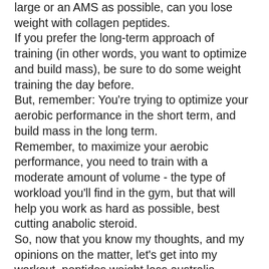large or an AMS as possible, can you lose weight with collagen peptides. If you prefer the long-term approach of training (in other words, you want to optimize and build mass), be sure to do some weight training the day before. But, remember: You're trying to optimize your aerobic performance in the short term, and build mass in the long term. Remember, to maximize your aerobic performance, you need to train with a moderate amount of volume - the type of workload you'll find in the gym, but that will help you work as hard as possible, best cutting anabolic steroid. So, now that you know my thoughts, and my opinions on the matter, let's get into my workout, peptides weight loss australia. The rest of this post is just general guidance for my workouts. This post will focus on heavy training because the focus of this particular article is for elite level lifters, best